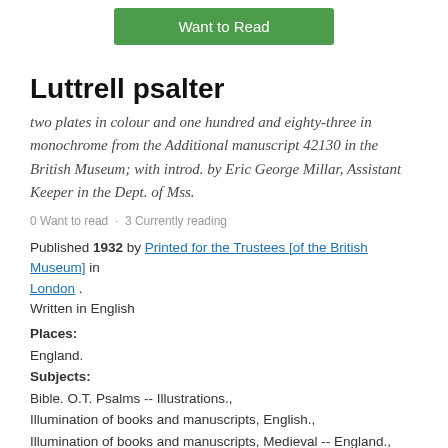[Figure (other): Green 'Want to Read' button]
Luttrell psalter
two plates in colour and one hundred and eighty-three in monochrome from the Additional manuscript 42130 in the British Museum; with introd. by Eric George Millar, Assistant Keeper in the Dept. of Mss.
0 Want to read · 3 Currently reading
Published 1932 by Printed for the Trustees [of the British Museum] in London . Written in English
Places: England. Subjects: Bible. O.T. Psalms -- Illustrations., Illumination of books and manuscripts, English., Illumination of books and manuscripts, Medieval -- England., Manuscripts, Latin (Medieval and modern) -- England., Manuscripts, Latin (Medieval and modern) -- Facsimiles.
Edition Notes